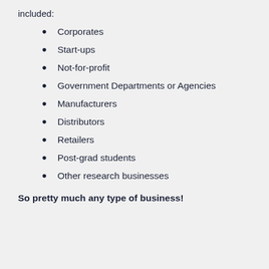included:
Corporates
Start-ups
Not-for-profit
Government Departments or Agencies
Manufacturers
Distributors
Retailers
Post-grad students
Other research businesses
So pretty much any type of business!